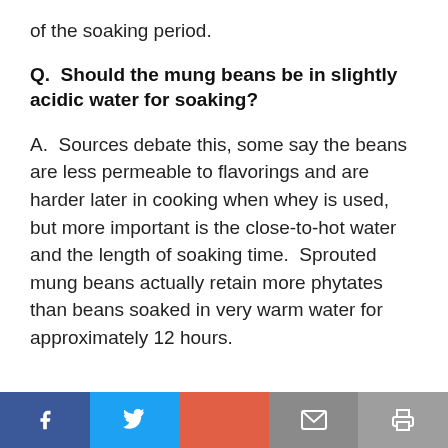of the soaking period.
Q.  Should the mung beans be in slightly acidic water for soaking?
A.  Sources debate this, some say the beans are less permeable to flavorings and are harder later in cooking when whey is used, but more important is the close-to-hot water and the length of soaking time.  Sprouted mung beans actually retain more phytates than beans soaked in very warm water for approximately 12 hours.
Social share bar: Facebook, Twitter, Plus, Email, Print